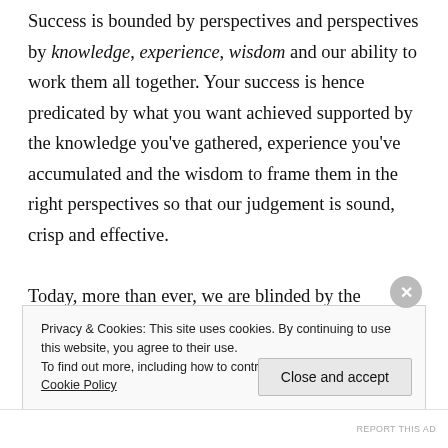Success is bounded by perspectives and perspectives by knowledge, experience, wisdom and our ability to work them all together. Your success is hence predicated by what you want achieved supported by the knowledge you've gathered, experience you've accumulated and the wisdom to frame them in the right perspectives so that our judgement is sound, crisp and effective.

Today, more than ever, we are blinded by the mammoth digital feeds as knowledge and the uncanny utterance of pompous phrases as divine wisdom. But
Privacy & Cookies: This site uses cookies. By continuing to use this website, you agree to their use.
To find out more, including how to control cookies, see here: Cookie Policy

Close and accept